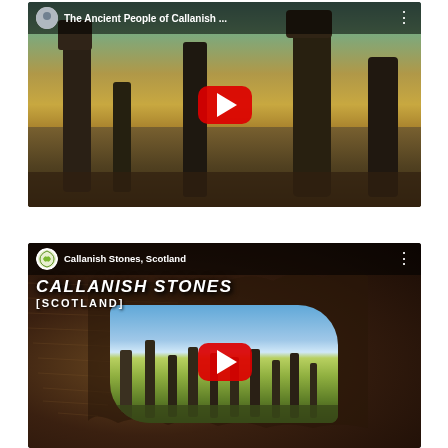[Figure (screenshot): YouTube thumbnail for video titled 'The Ancient People of Callanish ...' showing standing stones at golden hour with a YouTube play button overlay]
[Figure (screenshot): YouTube thumbnail for video titled 'Callanish Stones, Scotland' with channel logo, large text overlay reading 'CALLANISH STONES [SCOTLAND]' on an ancient map background with an inner photo of standing stones and a YouTube play button]